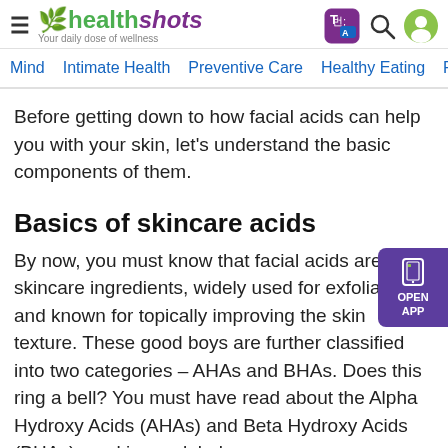healthshots — Your daily dose of wellness
Mind  Intimate Health  Preventive Care  Healthy Eating  Fit
Before getting down to how facial acids can help you with your skin, let's understand the basic components of them.
Basics of skincare acids
By now, you must know that facial acids are skincare ingredients, widely used for exfoliation and known for topically improving the skin texture. These good boys are further classified into two categories – AHAs and BHAs. Does this ring a bell? You must have read about the Alpha Hydroxy Acids (AHAs) and Beta Hydroxy Acids (BHAs) on skincare labels.